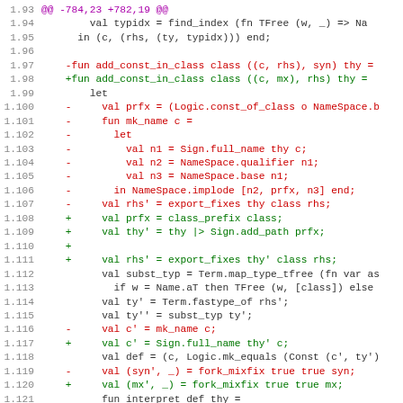[Figure (screenshot): A unified diff / code patch showing SML/Isabelle source code. Line numbers 1.93–1.124 are shown on the left. Lines are colored: purple for diff hunk headers, red for removed lines (prefixed with -), green for added lines (prefixed with +), and gray/black for context lines.]